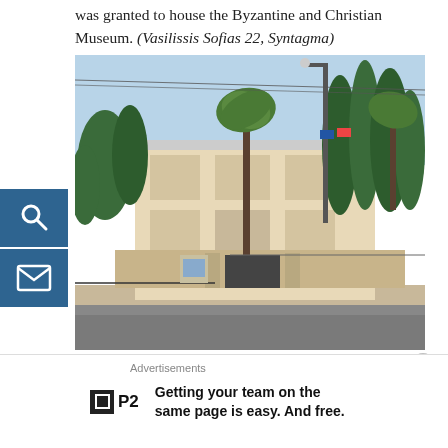was granted to house the Byzantine and Christian Museum. (Vasilissis Sofias 22, Syntagma)
[Figure (photo): Street-level photograph of the Byzantine and Christian Museum building in Athens, showing a neoclassical villa surrounded by tall cypress and palm trees, with a street lamp and wall in the foreground.]
Boucher Mansion
Advertisements
Getting your team on the same page is easy. And free.